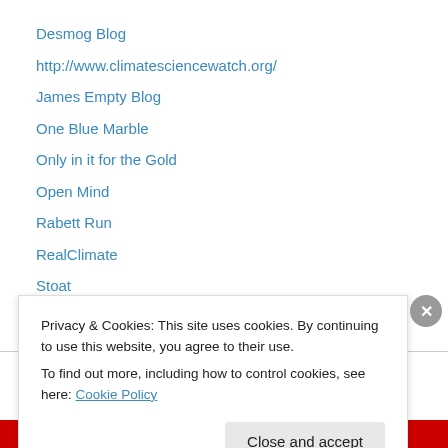Desmog Blog
http://www.climatesciencewatch.org/
James Empty Blog
One Blue Marble
Only in it for the Gold
Open Mind
Rabett Run
RealClimate
Stoat
Things Break
SourceWatch articles
Privacy & Cookies: This site uses cookies. By continuing to use this website, you agree to their use.
To find out more, including how to control cookies, see here: Cookie Policy